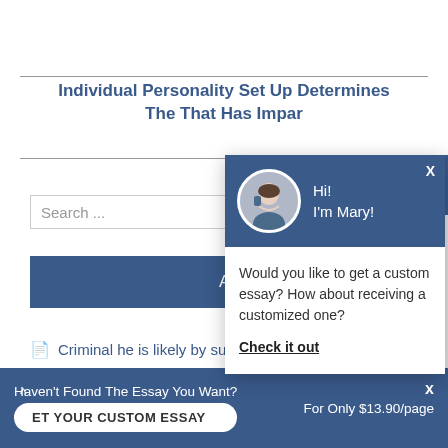Individual Personality Set Up Determines The That Has Impar
Search ...
All
Criminal he is likely by such use
[Figure (screenshot): Chat popup with avatar of Mary saying 'Hi! I'm Mary!' and offering a custom essay. Includes 'Check it out' link.]
Hi!
I'm Mary!
Would you like to get a custom essay? How about receiving a customized one?
Check it out
Haven't Found The Essay You Want? GET YOUR CUSTOM ESSAY For Only $13.90/page